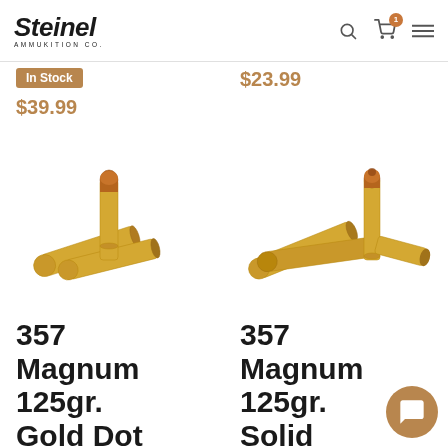Steinel Ammukition Co.
In Stock
$39.99
$23.99
[Figure (photo): Two 357 Magnum cartridges - brass cases with copper jacketed hollow point bullets, shown from multiple angles]
[Figure (photo): Three 357 Magnum cartridges - brass cases with copper jacketed bullets, shown grouped together]
357 Magnum 125gr. Gold Dot
357 Magnum 125gr. Solid